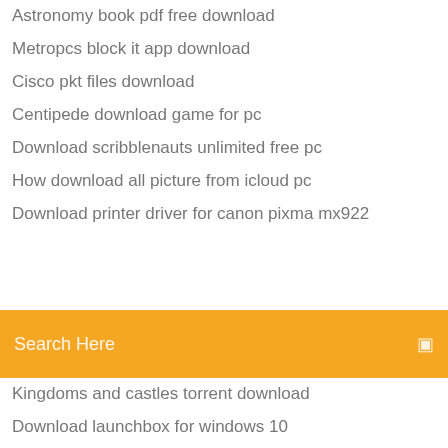Astronomy book pdf free download
Metropcs block it app download
Cisco pkt files download
Centipede download game for pc
Download scribblenauts unlimited free pc
How download all picture from icloud pc
Download printer driver for canon pixma mx922
[Figure (screenshot): Orange search bar with text 'Search Here' and a search icon on the right]
Kingdoms and castles torrent download
Download launchbox for windows 10
Takken all of pc game download
Free pdf word convert free download full version
Supder deepthroat mods download
Apa cite downloaded pdf
Can you get virus from downloading zip files
Es file explorer dark theme download
Cake app download cracked
Ford f150 repair manual free pdf download